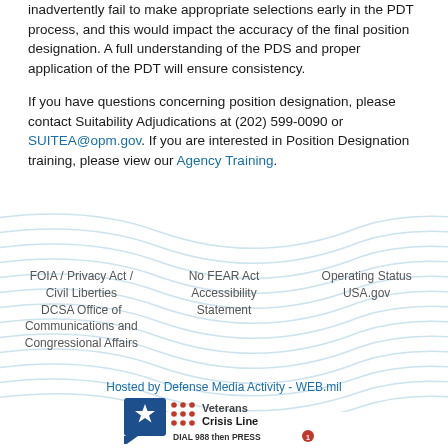inadvertently fail to make appropriate selections early in the PDT process, and this would impact the accuracy of the final position designation. A full understanding of the PDS and proper application of the PDT will ensure consistency.
If you have questions concerning position designation, please contact Suitability Adjudications at (202) 599-0090 or SUITEA@opm.gov. If you are interested in Position Designation training, please view our Agency Training.
[Figure (illustration): Decorative wave pattern banner in light blue separating the main content from the footer area]
FOIA / Privacy Act / Civil Liberties
DCSA Office of Communications and Congressional Affairs
No FEAR Act Accessibility Statement
Operating Status
USA.gov
Hosted by Defense Media Activity - WEB.mil
[Figure (logo): Veterans Crisis Line logo with star icon, dot grid, and text: DIAL 988 then PRESS 1]